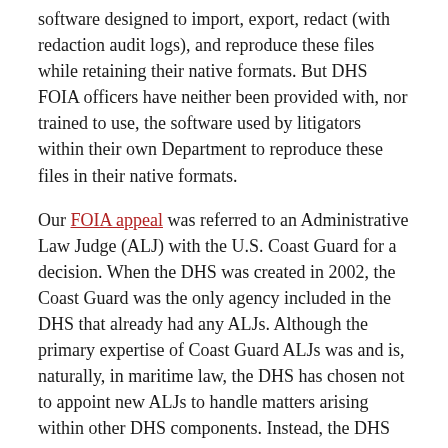software designed to import, export, redact (with redaction audit logs), and reproduce these files while retaining their native formats. But DHS FOIA officers have neither been provided with, nor trained to use, the software used by litigators within their own Department to reproduce these files in their native formats.
Our FOIA appeal was referred to an Administrative Law Judge (ALJ) with the U.S. Coast Guard for a decision. When the DHS was created in 2002, the Coast Guard was the only agency included in the DHS that already had any ALJs. Although the primary expertise of Coast Guard ALJs was and is, naturally, in maritime law, the DHS has chosen not to appoint new ALJs to handle matters arising within other DHS components. Instead, the DHS has delegated responsibility to Coast Guard ALJs to adjudicate DHS matters, unrelated to the Coast Guard, ranging from FOIA appeals to civil penalties levied by the Transportation Security Administration (TSA) against airline passengers.